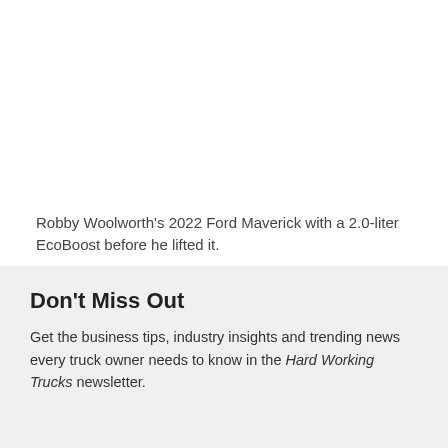Robby Woolworth's 2022 Ford Maverick with a 2.0-liter EcoBoost before he lifted it.
Source: Woolworth Motorsports
Don't Miss Out
Get the business tips, industry insights and trending news every truck owner needs to know in the Hard Working Trucks newsletter.